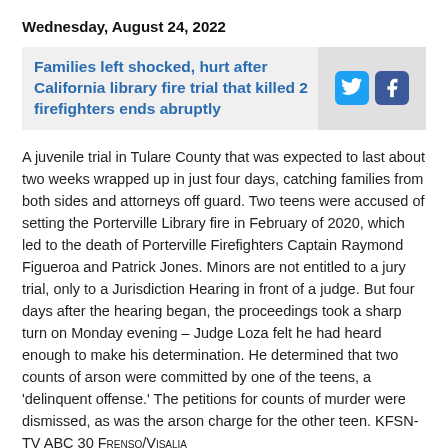Wednesday, August 24, 2022
Families left shocked, hurt after California library fire trial that killed 2 firefighters ends abruptly
A juvenile trial in Tulare County that was expected to last about two weeks wrapped up in just four days, catching families from both sides and attorneys off guard. Two teens were accused of setting the Porterville Library fire in February of 2020, which led to the death of Porterville Firefighters Captain Raymond Figueroa and Patrick Jones. Minors are not entitled to a jury trial, only to a Jurisdiction Hearing in front of a judge. But four days after the hearing began, the proceedings took a sharp turn on Monday evening – Judge Loza felt he had heard enough to make his determination. He determined that two counts of arson were committed by one of the teens, a 'delinquent offense.' The petitions for counts of murder were dismissed, as was the arson charge for the other teen. KFSN-TV ABC 30 Frenso/Visalia